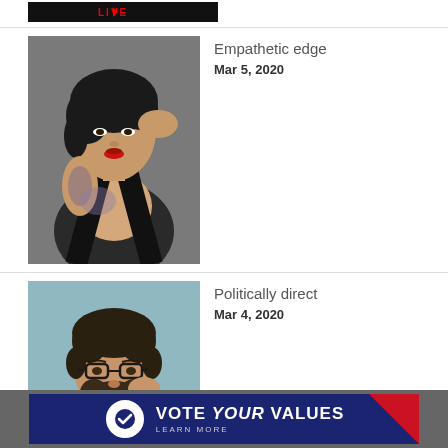[Figure (photo): Top strip: partial image with LIVE text on dark background]
[Figure (photo): Portrait photo of a woman with black hair, red lips and tattoos against gray background]
Empathetic edge
Mar 5, 2020
[Figure (photo): Portrait photo of a man with glasses and beard against blue-gray background]
Politically direct
Mar 4, 2020
[Figure (infographic): Vote Your Values banner ad with circular checkmark logo on dark navy background with red triangle accent]